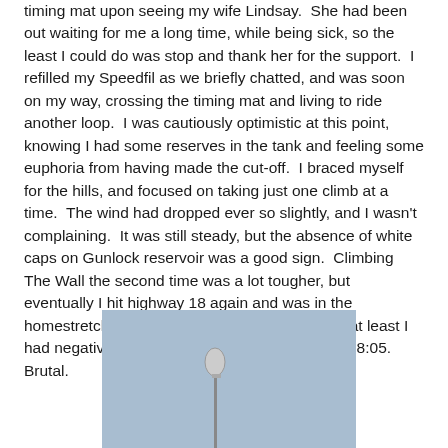timing mat upon seeing my wife Lindsay.  She had been out waiting for me a long time, while being sick, so the least I could do was stop and thank her for the support.  I refilled my Speedfil as we briefly chatted, and was soon on my way, crossing the timing mat and living to ride another loop.  I was cautiously optimistic at this point, knowing I had some reserves in the tank and feeling some euphoria from having made the cut-off.  I braced myself for the hills, and focused on taking just one climb at a time.  The wind had dropped ever so slightly, and I wasn't complaining.  It was still steady, but the absence of white caps on Gunlock reservoir was a good sign.  Climbing The Wall the second time was a lot tougher, but eventually I hit highway 18 again and was in the homestretch.  It was a laughably slow time, but at least I had negative split the thing and made it in time.  8:05.  Brutal.
[Figure (photo): A light blue sky background with a road sign silhouette on a pole, partially visible.]